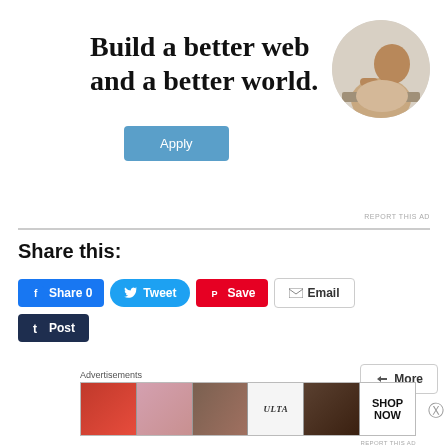[Figure (illustration): Advertisement banner with text 'Build a better web and a better world.' with an Apply button and circular portrait photo of a man thinking at a desk]
REPORT THIS AD
Share this:
[Figure (infographic): Row of social share buttons: Facebook Share 0, Tweet, Pinterest Save, Email, Tumblr Post, and a More button]
Advertisements
[Figure (photo): ULTA Beauty advertisement banner showing makeup images with 'SHOP NOW' text]